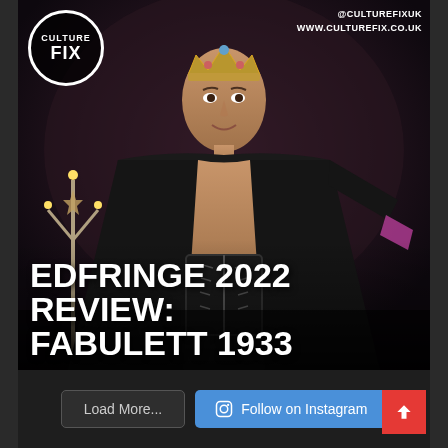[Figure (photo): Performer wearing a crown, open black cape, leather corset, posing on stage with dark background. Culture Fix logo in top-left corner, social media handles in top-right.]
EDFRINGE 2022 REVIEW: FABULETT 1933
@CULTUREFIXUK
WWW.CULTUREFIX.CO.UK
Load More...
Follow on Instagram